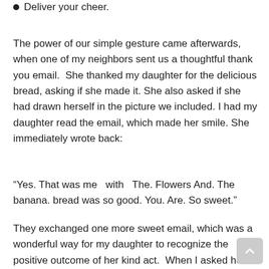Deliver your cheer.
The power of our simple gesture came afterwards, when one of my neighbors sent us a thoughtful thank you email.  She thanked my daughter for the delicious bread, asking if she made it. She also asked if she had drawn herself in the picture we included. I had my daughter read the email, which made her smile. She immediately wrote back:
“Yes. That was me  with  The. Flowers And. The banana. bread was so good. You. Are. So sweet.”
They exchanged one more sweet email, which was a wonderful way for my daughter to recognize the positive outcome of her kind act.  When I asked her